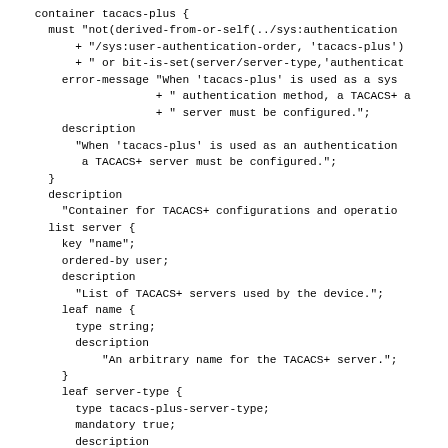container tacacs-plus {
  must "not(derived-from-or-self(../sys:authentication
      + "/sys:user-authentication-order, 'tacacs-plus')
      + " or bit-is-set(server/server-type,'authenticat
    error-message "When 'tacacs-plus' is used as a sys
                  + " authentication method, a TACACS+ a
                  + " server must be configured.";
    description
      "When 'tacacs-plus' is used as an authentication
       a TACACS+ server must be configured.";
  }
  description
    "Container for TACACS+ configurations and operatio
  list server {
    key "name";
    ordered-by user;
    description
      "List of TACACS+ servers used by the device.";
    leaf name {
      type string;
      description
          "An arbitrary name for the TACACS+ server.";
    }
    leaf server-type {
      type tacacs-plus-server-type;
      mandatory true;
      description
          "Server type: authentication/authorization/acc
           various combinations.";
    }
  }